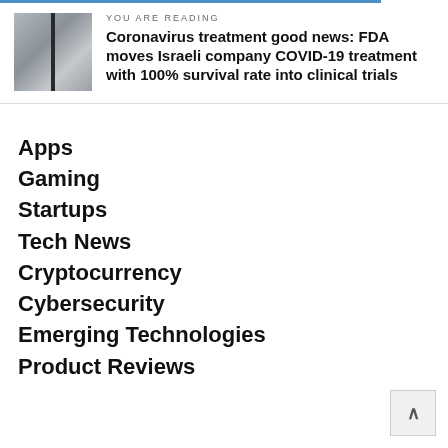YOU ARE READING
Coronavirus treatment good news: FDA moves Israeli company COVID-19 treatment with 100% survival rate into clinical trials
Apps
Gaming
Startups
Tech News
Cryptocurrency
Cybersecurity
Emerging Technologies
Product Reviews